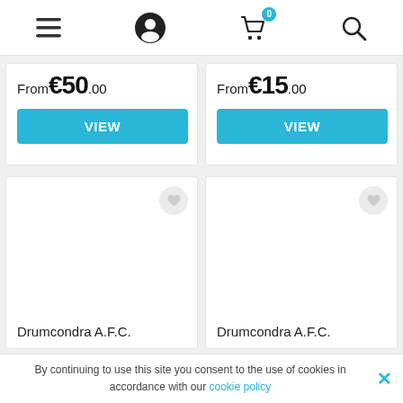Navigation bar with menu, user, cart (0), and search icons
From €50.00
From €15.00
[Figure (screenshot): Blue VIEW button for first product]
[Figure (screenshot): Blue VIEW button for second product]
[Figure (screenshot): Product card with heart/wishlist icon and title Drumcondra A.F.C.]
[Figure (screenshot): Product card with heart/wishlist icon and title Drumcondra A.F.C.]
Drumcondra A.F.C.
Drumcondra A.F.C.
By continuing to use this site you consent to the use of cookies in accordance with our cookie policy